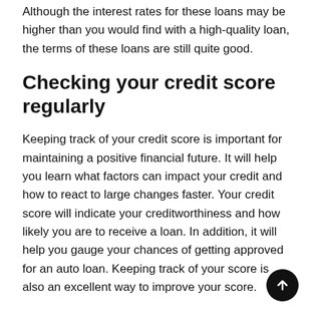Although the interest rates for these loans may be higher than you would find with a high-quality loan, the terms of these loans are still quite good.
Checking your credit score regularly
Keeping track of your credit score is important for maintaining a positive financial future. It will help you learn what factors can impact your credit and how to react to large changes faster. Your credit score will indicate your creditworthiness and how likely you are to receive a loan. In addition, it will help you gauge your chances of getting approved for an auto loan. Keeping track of your score is also an excellent way to improve your score.
Obtaining a copy of your credit report is an excellent way to monitor your progress and identify any mistakes. You should